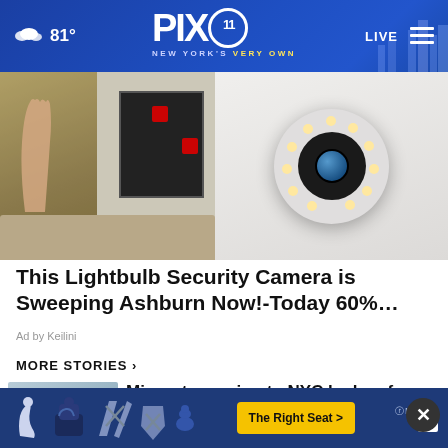81° PIX11 NEW YORK'S VERY OWN LIVE
[Figure (photo): Advertisement image showing a security camera and smart home interface. Left side shows a room with a hand touching a wall with red highlighted boxes. Right side shows a white dome-shaped lightbulb security camera with LED ring.]
This Lightbulb Security Camera is Sweeping Ashburn Now!-Today 60%...
Ad by Keilini
MORE STORIES ›
[Figure (photo): Thumbnail of people walking outdoors with play button overlay]
Migrants coming to NYC by bus face challenges
[Figure (photo): Thumbnail of a person speaking with play button overlay]
PIX11 poll: Nadler pulls away in NY-12
[Figure (infographic): Bottom banner advertisement for NHTSA The Right Seat with car seat safety icons and yellow CTA button]